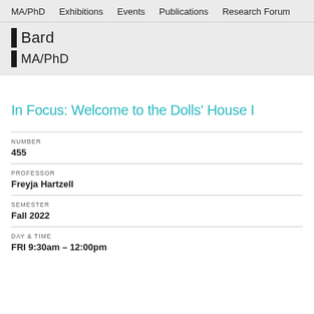MA/PhD  Exhibitions  Events  Publications  Research Forum
Bard MA/PhD
In Focus: Welcome to the Dolls' House I
NUMBER
455
PROFESSOR
Freyja Hartzell
SEMESTER
Fall 2022
DAY & TIME
FRI 9:30am – 12:00pm